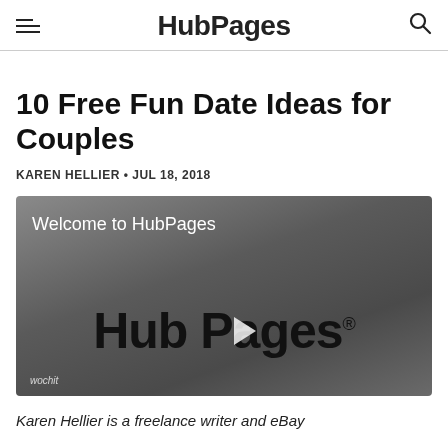HubPages
10 Free Fun Date Ideas for Couples
KAREN HELLIER • JUL 18, 2018
[Figure (screenshot): Video player showing 'Welcome to HubPages' with HubPages logo and play button, wochit branding in lower left]
Karen Hellier is a freelance writer and eBay